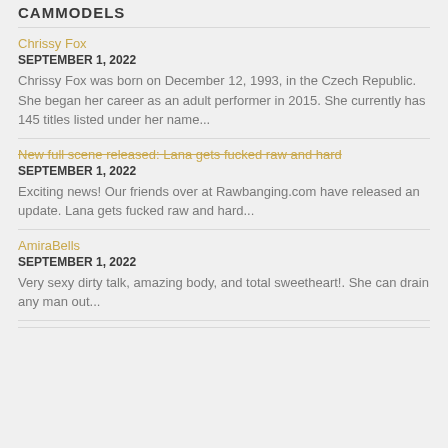CAMMODELS
Chrissy Fox
SEPTEMBER 1, 2022
Chrissy Fox was born on December 12, 1993, in the Czech Republic. She began her career as an adult performer in 2015. She currently has 145 titles listed under her name...
New full scene released: Lana gets fucked raw and hard
SEPTEMBER 1, 2022
Exciting news! Our friends over at Rawbanging.com have released an update. Lana gets fucked raw and hard...
AmiraBells
SEPTEMBER 1, 2022
Very sexy dirty talk, amazing body, and total sweetheart!. She can drain any man out...